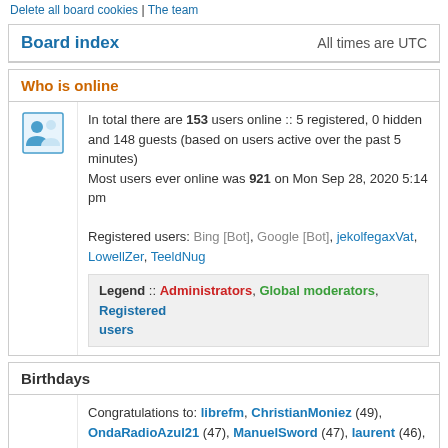Delete all board cookies | The team
Board index   All times are UTC
Who is online
In total there are 153 users online :: 5 registered, 0 hidden and 148 guests (based on users active over the past 5 minutes)
Most users ever online was 921 on Mon Sep 28, 2020 5:14 pm

Registered users: Bing [Bot], Google [Bot], jekolfegaxVat, LowellZer, TeeldNug

Legend :: Administrators, Global moderators, Registered users
Birthdays
Congratulations to: librefm, ChristianMoniez (49), OndaRadioAzul21 (47), ManuelSword (47), laurent (46), jucamaru (46), LewisDoX (46), Eddiekix (46), ClaraRic (46), ChristopherFT (46), DanielSpoky (46), Amandaintok (45), Arthurscaby (45),